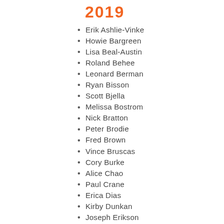2019
Erik Ashlie-Vinke
Howie Bargreen
Lisa Beal-Austin
Roland Behee
Leonard Berman
Ryan Bisson
Scott Bjella
Melissa Bostrom
Nick Bratton
Peter Brodie
Fred Brown
Vince Bruscas
Cory Burke
Alice Chao
Paul Crane
Erica Dias
Kirby Dunkan
Joseph Erikson
Tye Ferrell
Lori Fox
Jon Hall
Patrice Hardy
Jennifer Harrington
Mark Harrison
Tia Heim